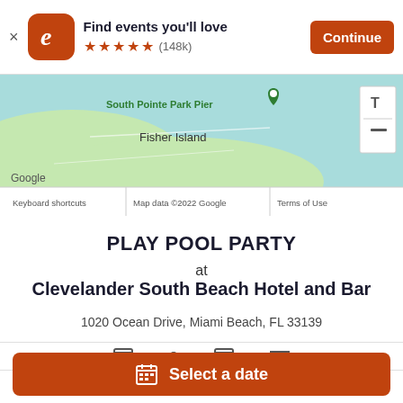[Figure (screenshot): Eventbrite app banner with logo, 'Find events you'll love' text, 5 stars (148k reviews), and a 'Continue' button]
[Figure (map): Google Maps showing South Pointe Park Pier, Fisher Island area in Miami Beach with map controls]
PLAY POOL PARTY
at
Clevelander South Beach Hotel and Bar
1020 Ocean Drive, Miami Beach, FL 33139
Free
Select a date